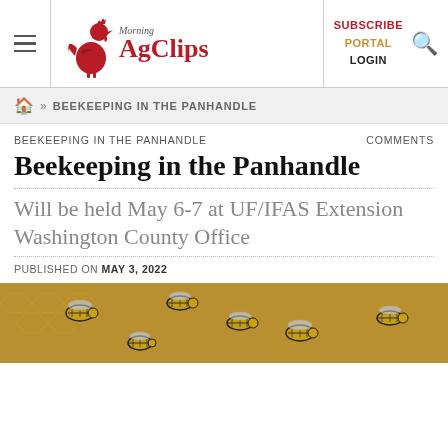Morning AgClips — SUBSCRIBE PORTAL LOGIN
» BEEKEEPING IN THE PANHANDLE
BEEKEEPING IN THE PANHANDLE
Beekeeping in the Panhandle
Will be held May 6-7 at UF/IFAS Extension Washington County Office
PUBLISHED ON MAY 3, 2022
[Figure (photo): Close-up photograph of honeybees on honeycomb frames]